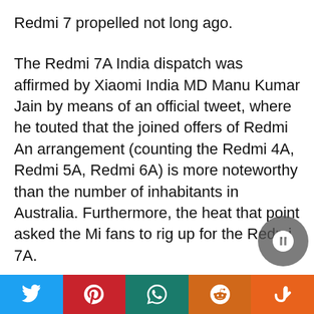Redmi 7 propelled not long ago.
The Redmi 7A India dispatch was affirmed by Xiaomi India MD Manu Kumar Jain by means of an official tweet, where he touted that the joined offers of Redmi An arrangement (counting the Redmi 4A, Redmi 5A, Redmi 6A) is more noteworthy than the number of inhabitants in Australia. Furthermore, the heat that point asked the Mi fans to rig up for the Redmi 7A.
As should be obvious in the tweet above, Manu Kumar Jain hasn't uncovered the dispatch date for the Redmi 7A however is welcoming Mi fans to